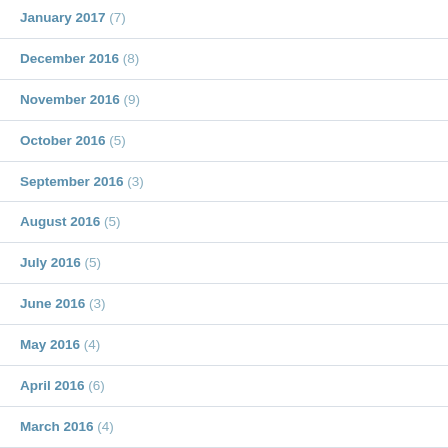January 2017 (7)
December 2016 (8)
November 2016 (9)
October 2016 (5)
September 2016 (3)
August 2016 (5)
July 2016 (5)
June 2016 (3)
May 2016 (4)
April 2016 (6)
March 2016 (4)
February 2016 (3)